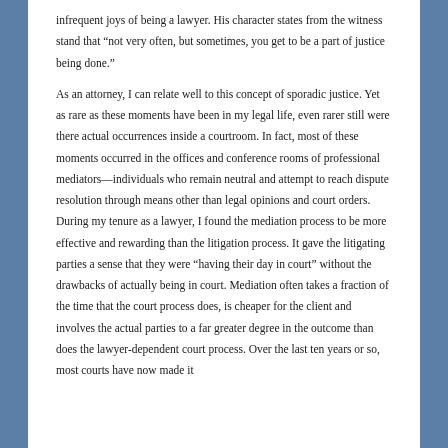infrequent joys of being a lawyer. His character states from the witness stand that “not very often, but sometimes, you get to be a part of justice being done.” As an attorney, I can relate well to this concept of sporadic justice. Yet as rare as these moments have been in my legal life, even rarer still were there actual occurrences inside a courtroom. In fact, most of these moments occurred in the offices and conference rooms of professional mediators—individuals who remain neutral and attempt to reach dispute resolution through means other than legal opinions and court orders. During my tenure as a lawyer, I found the mediation process to be more effective and rewarding than the litigation process. It gave the litigating parties a sense that they were “havingtheir day in court” without the drawbacks of actually being in court. Mediation often takes a fraction of the time that the court process does, is cheaper for the client and involves the actual parties to a far greater degree in the outcome than does the lawyer-dependent court process. Over the last ten years or so, most courts have now made it